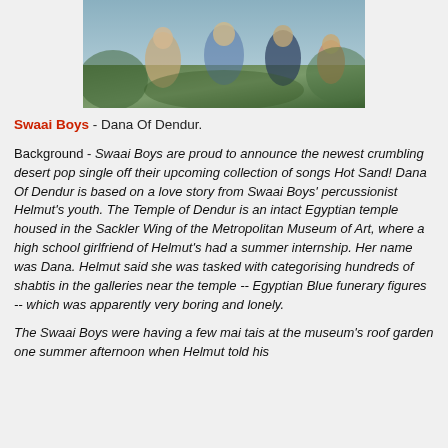[Figure (photo): Group photo of Swaai Boys band members sitting outdoors on what appears to be railway tracks or a bench, with greenery in the background.]
Swaai Boys - Dana Of Dendur.
Background - Swaai Boys are proud to announce the newest crumbling desert pop single off their upcoming collection of songs Hot Sand! Dana Of Dendur is based on a love story from Swaai Boys' percussionist Helmut's youth. The Temple of Dendur is an intact Egyptian temple housed in the Sackler Wing of the Metropolitan Museum of Art, where a high school girlfriend of Helmut's had a summer internship. Her name was Dana. Helmut said she was tasked with categorising hundreds of shabtis in the galleries near the temple -- Egyptian Blue funerary figures -- which was apparently very boring and lonely.
The Swaai Boys were having a few mai tais at the museum's roof garden one summer afternoon when Helmut told his